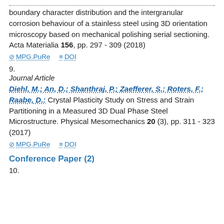boundary character distribution and the intergranular corrosion behaviour of a stainless steel using 3D orientation microscopy based on mechanical polishing serial sectioning. Acta Materialia 156, pp. 297 - 309 (2018)
⊘ MPG.PuRe   ≡ DOI
9.
Journal Article
Diehl, M.; An, D.; Shanthraj, P.; Zaefferer, S.; Roters, F.; Raabe, D.: Crystal Plasticity Study on Stress and Strain Partitioning in a Measured 3D Dual Phase Steel Microstructure. Physical Mesomechanics 20 (3), pp. 311 - 323 (2017)
⊘ MPG.PuRe   ≡ DOI
Conference Paper (2)
10.